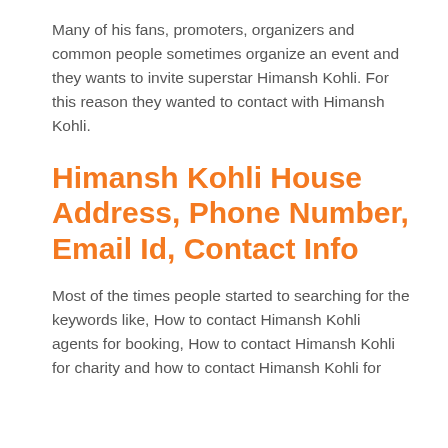Many of his fans, promoters, organizers and common people sometimes organize an event and they wants to invite superstar Himansh Kohli. For this reason they wanted to contact with Himansh Kohli.
Himansh Kohli House Address, Phone Number, Email Id, Contact Info
Most of the times people started to searching for the keywords like, How to contact Himansh Kohli agents for booking, How to contact Himansh Kohli for charity and how to contact Himansh Kohli for